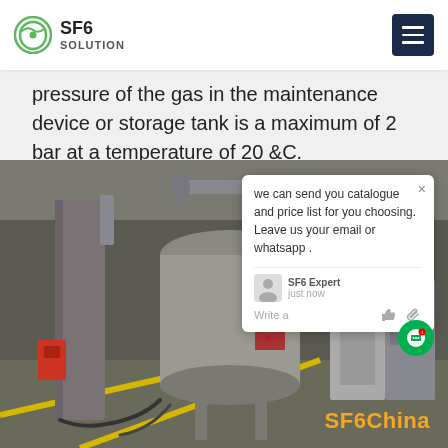SF6 SOLUTION
pressure of the gas in the maintenance device or storage tank is a maximum of 2 bar at a temperature of 20 &C.
[Figure (photo): Industrial SF6 gas handling equipment in a facility — large grey metal tanks, piping, valves, and gauges on a concrete floor with yellow line markings. SF6China watermark in orange at bottom right.]
we can send you catalogue and price list for you choosing.
Leave us your email or whatsapp .